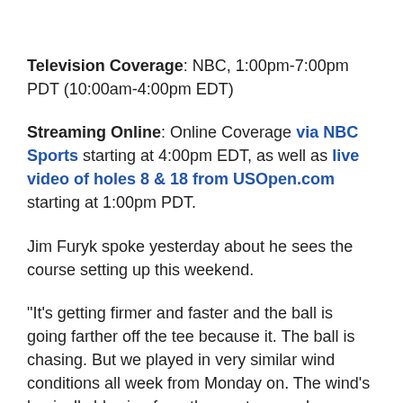Television Coverage: NBC, 1:00pm-7:00pm PDT (10:00am-4:00pm EDT)
Streaming Online: Online Coverage via NBC Sports starting at 4:00pm EDT, as well as live video of holes 8 & 18 from USOpen.com starting at 1:00pm PDT.
Jim Furyk spoke yesterday about he sees the course setting up this weekend.
"It's getting firmer and faster and the ball is going farther off the tee because it. The ball is chasing. But we played in very similar wind conditions all week from Monday on. The wind's basically blowing from the west somewhere. Usually from the west, southwest, but it's